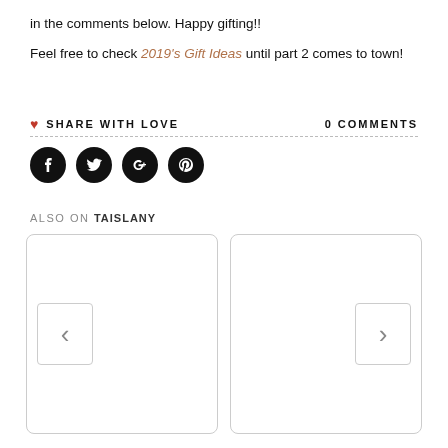in the comments below. Happy gifting!!
Feel free to check 2019's Gift Ideas until part 2 comes to town!
♥ SHARE WITH LOVE   0 COMMENTS
[Figure (infographic): Social share buttons: Facebook, Twitter, Google+, Pinterest — black circular icons]
ALSO ON TAISLANY
[Figure (infographic): Two content cards side by side with left and right navigation chevron buttons]